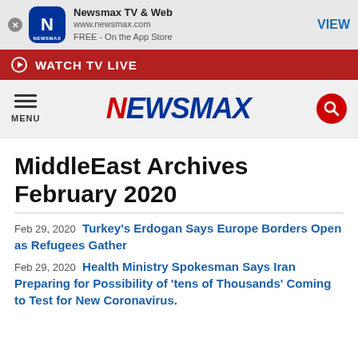[Figure (screenshot): Newsmax app banner with close button, app icon, title 'Newsmax TV & Web', URL 'www.newsmax.com', 'FREE - On the App Store', and VIEW button]
[Figure (screenshot): Red banner with play icon and text WATCH TV LIVE]
[Figure (logo): Newsmax logo with hamburger menu icon labeled MENU on left and red search circle on right]
MiddleEast Archives February 2020
Feb 29, 2020 Turkey's Erdogan Says Europe Borders Open as Refugees Gather
Feb 29, 2020 Health Ministry Spokesman Says Iran Preparing for Possibility of 'tens of Thousands' Coming to Test for New Coronavirus.